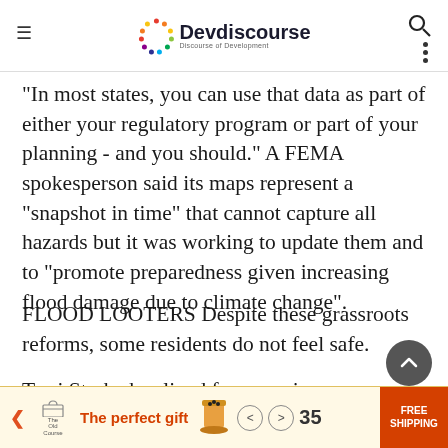Devdiscourse — Discourse of Development
"In most states, you can use that data as part of either your regulatory program or part of your planning - and you should." A FEMA spokesperson said its maps represent a "snapshot in time" that cannot capture all hazards but it was working to update them and to "promote preparedness given increasing flood damage due to climate change".
FLOOD LOOTERS Despite these grassroots reforms, some residents do not feel safe.
Terri Straka has lived for years in Socastee, about 12